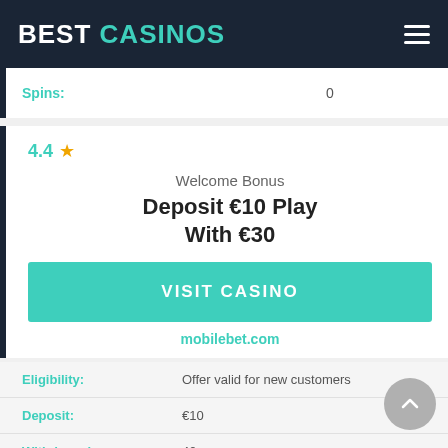BEST CASINOS
Spins: 0
4.4 ★
Welcome Bonus
Deposit €10 Play With €30
VISIT CASINO
mobilebet.com
7.
| Field | Value |
| --- | --- |
| Eligibility: | Offer valid for new customers |
| Deposit: | €10 |
| Withdrawal: | 40x |